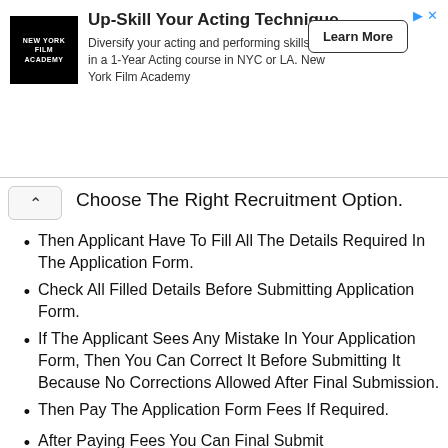[Figure (infographic): Advertisement banner for New York Film Academy: 'Up-Skill Your Acting Technique' with logo, description text, and Learn More button.]
Choose The Right Recruitment Option.
Then Applicant Have To Fill All The Details Required In The Application Form.
Check All Filled Details Before Submitting Application Form.
If The Applicant Sees Any Mistake In Your Application Form, Then You Can Correct It Before Submitting It Because No Corrections Allowed After Final Submission.
Then Pay The Application Form Fees If Required.
After Paying Fees You Can Final Submit